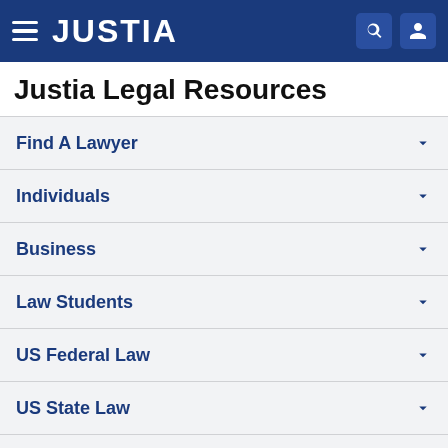JUSTIA
Justia Legal Resources
Find A Lawyer
Individuals
Business
Law Students
US Federal Law
US State Law
Other Databases